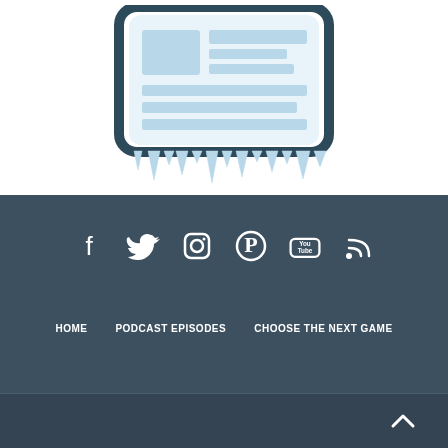[Figure (illustration): Newsletter/article icon with icicles hanging from bottom — a stylized tablet/document graphic with light blue rectangle blocks representing text and image layout, with a dark teal border and icicle drips at the bottom]
[Figure (infographic): Row of 6 social media icons: Facebook, Twitter, Instagram, Pinterest, YouTube, RSS Feed — all white on dark blue-grey background]
HOME   PODCAST EPISODES   CHOOSE THE NEXT GAME